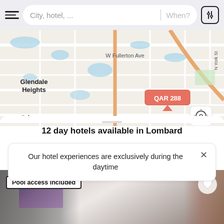City, hotel, ... | When?
[Figure (map): Street map showing Glendale Heights area with W Fullerton Ave, South Addison, North Ave labels and route markers 20, 290, 83. A price tag shows QAR 288.]
12 day hotels available in Lombard
Our hotel experiences are exclusively during the daytime
[Figure (photo): Hotel room interior showing decorative wall art and wooden furnishings. Badge reads 'Pool access included'.]